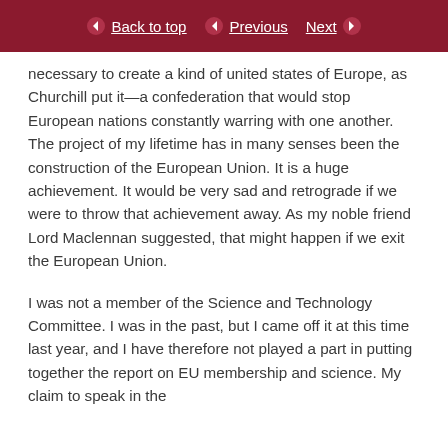Back to top | Previous | Next
necessary to create a kind of united states of Europe, as Churchill put it—a confederation that would stop European nations constantly warring with one another. The project of my lifetime has in many senses been the construction of the European Union. It is a huge achievement. It would be very sad and retrograde if we were to throw that achievement away. As my noble friend Lord Maclennan suggested, that might happen if we exit the European Union.
I was not a member of the Science and Technology Committee. I was in the past, but I came off it at this time last year, and I have therefore not played a part in putting together the report on EU membership and science. My claim to speak in the